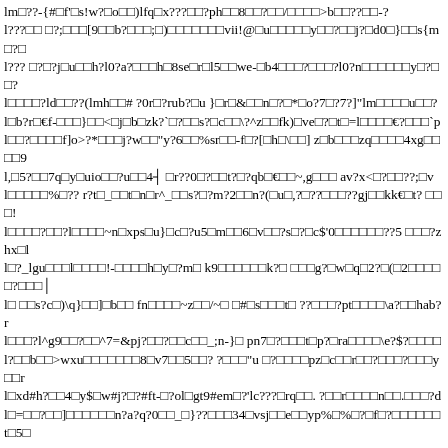lm□□??-{#□f'□s!w?□o□□)lfq□x???□□?ph□□8□□?□□/□□□□>b□□??□□-?
l???□□ □?;□□□[9□□b?□□□;□)□□□□□□□vii!@□u□□□□□y□□?□□j?□d0□}□□s{m□?□
l????? l?□?j□u□□h?l0?a?□□□h□8se□r□l5□□we-□b4□□□?□□□?l0?n□□□□□□y□?□□?
l□□□□?ld□□??(lmh□□# ?0r□?rub?□u }□r□&□□n□?□*□o?7□?7?]"lm□□□□u□□?
l□b?r□€f-□□□}□□<□j□b□zk?`□?□□s?□c□□\?^z□□fk)□ve□?□t□=l□□□□€?□□□`p
l□□?□□□□f]o>?*□□□j?w□□"y?6□□%sr□□-f□?[□h□\□□] z□b□□□zq□□□□4xg□□□□9
l,□5?□□7q□y□uio□□?u□□4┤ □r??0□?□□t?□?qb□€□□~,g□□□ av?x<□?□□??;□v
l□□□□□%□?? r?t□_□□t□n□r^_□□s?□?m?2□□n?(□u□,?□??□□□??gj□□kk€□t? □□□!
l□□□□?□□?l□□□□~n□xps□u}□c□?u5□m□□6□v□□?s□?□c$'0□□□□□□??5 □□□?zhx□l
l□?_lgu□□□l□□□□!-□□□□h□y□?m□ k9□□□□□□k?□ □□□g?□w□q□2?□(□2□□□□□?□□□│
l□ □□s?c□)□q}□□]□b□□ fn□□□□~z□□/~□ □#□s□□□t□ ??□□□?pt□□□□\a?□□hab?r
l□□□?l^g9□□?□□^7=&pj?□□?□□c□□_;n-}□ pn7□?□□□t□p?□ra□□□□\e?$?□□□□
l?□□b□□>wxu□□□□□□□8□v7□□5□□? ?□□□"u □?□□□□pz□c□□r□□?□□□?□□□y□□r
l□xd#h?□□4□y$□w#j?□?#ft-□?ol□gt9#em□?'lc???□rq□□. ?□□r□□□□n□□.□□□?d
l□=□□?□□]□□□□□□n?a?q?0□□_□}??□□□34□vsj□□e□□yp%□%□?□f□?□□□□□□t□5□
l□kut□□□?□□.lv□□?□?2€□f□l0'!□-?r?□ ?q□rb□a%h8?□?r□ □/□? l?□□□□□□j□u□?□□□
l□md=□□.□□st□?□□□u□□/?□□□□□?□□□`)□□□□□□□□6jr □dcbg□c□□s<□4?□?□j.ye□h□
l□^□□□???c□e!w□□d?(□□\□□k□k□h□□ y1j□□kf#&n0□□?□$□h□□?q.□□]_wz□□
l□m€□□:xu□?v□□□v l□j□□□t□\{pccn"?□□v□?? ck~□□sd□□□?'□'□□?=l□?ol□f(?
l□□]lrhy'□y□□wk□i?|oj□?h□w□*>?□€□j%8□?□□.□d□□η□□□□□l?□□□□?b□□??r□
l□riv□!.□i□□□ zj□sh?c□□}*□g$□t□2□wu□?□g□□;□□□□□□o?□□? □ t?□□□□□?fu□□
l□€nz?k_□□%□□r□□b□□□□}□□□%□hs□□□? cz□□l□?□□□□t□□n□□r?□e>p
l□□?□□□pf7□o<□□□8r]?)□□@□□i{~i□?t□□?h□□?i□□□□q□□□)l5*^□:k_□□?□□?dv
l□□[□mu□□□□□□□□□□nda]□&jig□□□viii□?□□?#w□l.1{□□□□□h□□ww□□snvf|□□□?
l□s?□il□x□□-?□j| □□□?>lm□□□□?□~□?□? c□□n□c?.□□'?p?□_%□m?-o<°`?□8?jg□?□n